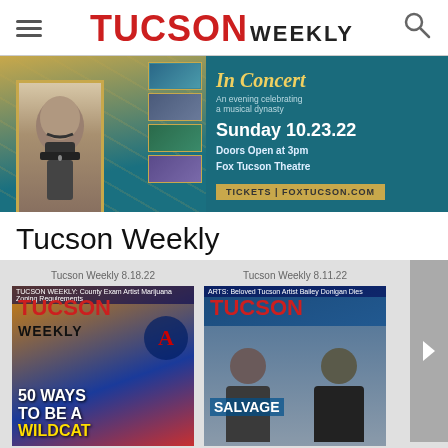TUCSON WEEKLY
[Figure (photo): Advertisement banner for a concert at Fox Tucson Theatre. Shows a historical portrait of a mustachioed man, photo collage thumbnails, text: 'In Concert - An evening celebrating a musical dynasty. Sunday 10.23.22. Doors Open at 3pm. Fox Tucson Theatre. TICKETS | FOXTUCSON.COM']
Tucson Weekly
Tucson Weekly 8.18.22
[Figure (photo): Tucson Weekly magazine cover 8.18.22 showing '50 WAYS TO BE A WILDCAT' with colorful imagery and University of Arizona logo]
Tucson Weekly 8.11.22
[Figure (photo): Tucson Weekly magazine cover 8.11.22 showing two people with text 'SALVAGE' visible]